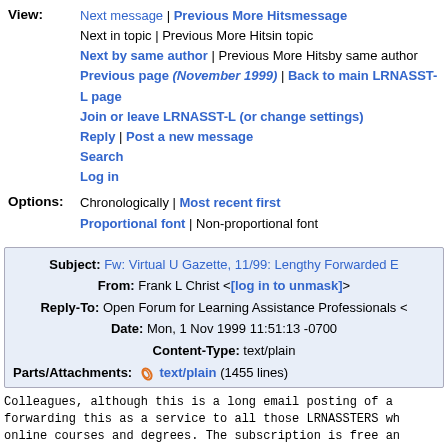View: Next message | Previous More Hitsmessage
Next in topic | Previous More Hitsin topic
Next by same author | Previous More Hitsby same author
Previous page (November 1999) | Back to main LRNASST-L page
Join or leave LRNASST-L (or change settings)
Reply | Post a new message
Search
Log in
Options: Chronologically | Most recent first
Proportional font | Non-proportional font
Subject: Fw: Virtual U Gazette, 11/99: Lengthy Forwarded E
From: Frank L Christ <[log in to unmask]>
Reply-To: Open Forum for Learning Assistance Professionals <
Date: Mon, 1 Nov 1999 11:51:13 -0700
Content-Type: text/plain
Parts/Attachments: text/plain (1455 lines)
Colleagues, although this is a long email posting of a
forwarding this as a service to all those LRNASSTERS wh
online courses and degrees. The subscription is free an
at the beginning of the news bits.  This is a great ser
listed in the near future on the LSCHE web site
http//www.pvc.maricopa.edu/winterinstitute/ under Resou
    Collegially..............Frank
================================